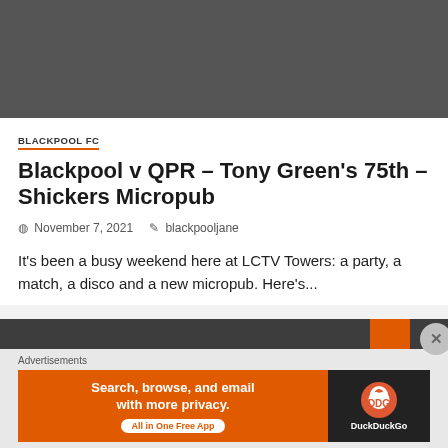[Figure (photo): Dark gray/charcoal image block at top of page, appears to be a video or image placeholder]
BLACKPOOL FC
Blackpool v QPR – Tony Green's 75th – Shickers Micropub
November 7, 2021   blackpooljane
It's been a busy weekend here at LCTV Towers: a party, a match, a disco and a new micropub. Here's...
[Figure (screenshot): Dark navigation bar with orange element and close button]
Advertisements
[Figure (screenshot): DuckDuckGo advertisement banner: Search, browse, and email with more privacy. All in One Free App]